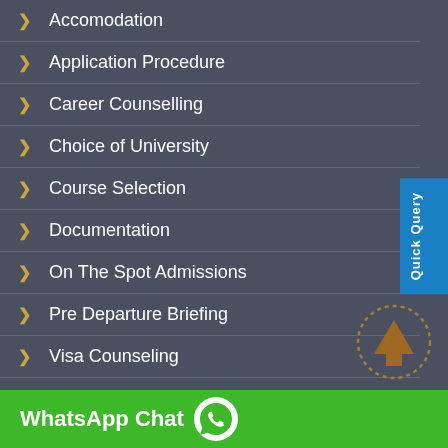Accomodation
Application Procedure
Career Counselling
Choice of University
Course Selection
Documentation
On The Spot Admissions
Pre Departure Briefing
Visa Counseling
UNIVERSITIES
Australia
Quick Query
WhatsApp Chat